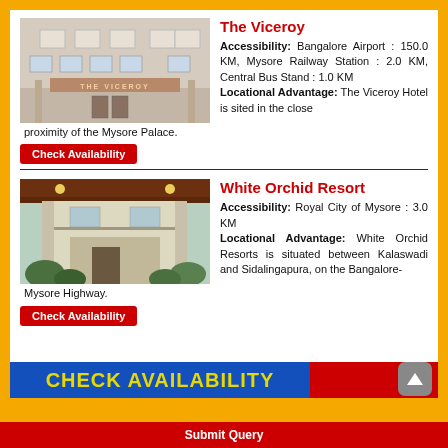The Viceroy
[Figure (photo): Exterior photo of The Viceroy hotel building with signage]
Accessibility: Bangalore Airport : 150.0 KM, Mysore Railway Station : 2.0 KM, Central Bus Stand : 1.0 KM
Locational Advantage: The Viceroy Hotel is sited in the close proximity of the Mysore Palace.
Check Availability
White Orchid Resort
[Figure (photo): Exterior photo of White Orchid Resort entrance with pillars and greenery]
Accessibility: Royal City of Mysore : 3.0 KM
Locational Advantage: White Orchid Resorts is situated between Kalaswadi and Sidalingapura, on the Bangalore-Mysore Highway.
Check Availability
CHECK AVAILABILITY
Submit Query